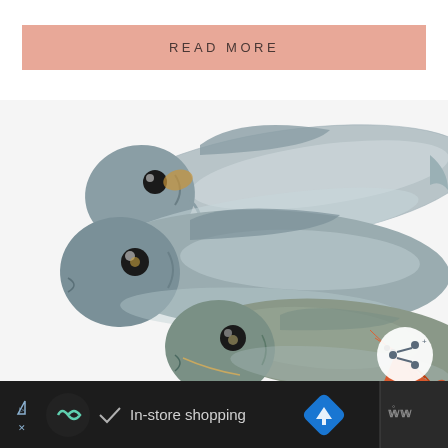READ MORE
[Figure (photo): Three fresh whole fish (sea bass/bream) arranged on a white background with a red/orange shrimp visible at the bottom right corner. A share button icon is visible as an overlay at the bottom right.]
[Figure (infographic): Advertisement bar at the bottom: dark background with a circular logo, an arrow/Ad marker, a checkmark with 'In-store shopping' text, a blue diamond navigation icon, and a W-dot logo on the far right.]